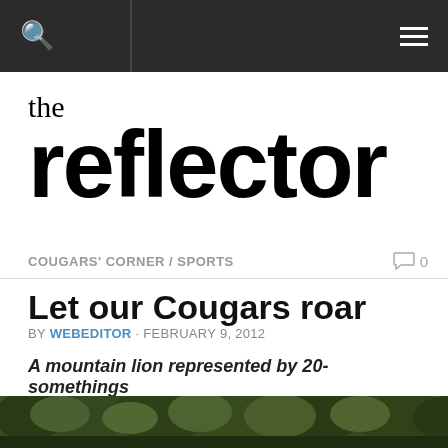the reflector
COUGARS' CORNER / SPORTS
Let our Cougars roar
BY WEBEDITOR · FEBRUARY 9, 2012
A mountain lion represented by 20-somethings
[Figure (photo): Outdoor photo showing trees and natural scenery, partially visible at bottom of page]